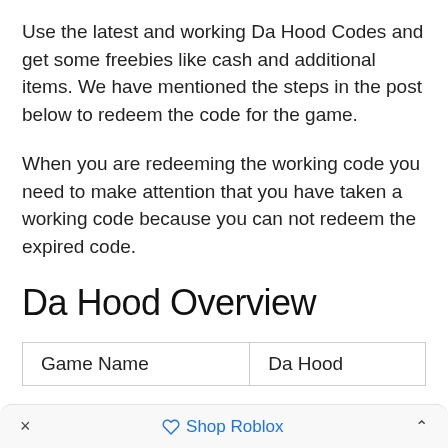Use the latest and working Da Hood Codes and get some freebies like cash and additional items. We have mentioned the steps in the post below to redeem the code for the game.
When you are redeeming the working code you need to make attention that you have taken a working code because you can not redeem the expired code.
Da Hood Overview
| Game Name | Da Hood |
| --- | --- |
× ♡ Shop Roblox ^